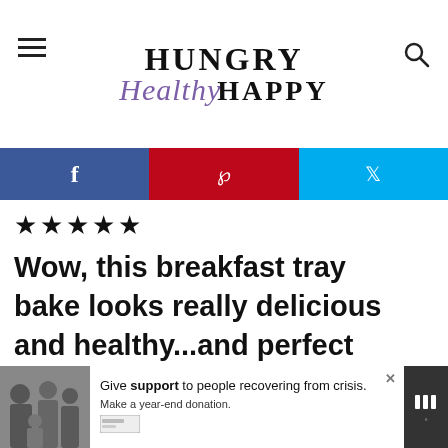Hungry Healthy Happy
[Figure (screenshot): Social share bar with Facebook (blue), Pinterest (red), and Twitter (cyan) buttons]
★★★★★
Wow, this breakfast tray bake looks really delicious and healthy...and perfect for feeding guests!
[Figure (screenshot): What's Next widget showing Stuffed Portobello... with a food image]
[Figure (screenshot): Advertisement: Give support to people recovering from crisis. Make a year-end donation.]